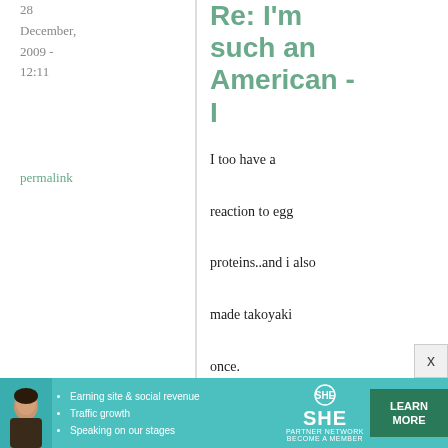28 December, 2009 - 12:11
permalink
Re: I'm such an American - I
I too have a reaction to egg proteins..and i also made takoyaki once.

Use some besan/gramflour or
[Figure (photo): Advertisement banner for SHE Partner Network featuring a woman, bullet points about earning site & social revenue, traffic growth, speaking on our stages, the SHE Media logo, and a Learn More button.]